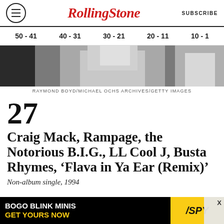RollingStone | SUBSCRIBE
50 - 41 | 40 - 31 | 30 - 21 | 20 - 11 | 10 - 1
[Figure (photo): Black and white partial photo of a person, cropped at top of page]
RAYMOND BOYD/MICHAEL OCHS ARCHIVES/GETTY IMAGES
27
Craig Mack, Rampage, the Notorious B.I.G., LL Cool J, Busta Rhymes, ‘Flava in Ya Ear (Remix)’
Non-album single, 1994
[Figure (other): Advertisement banner: BOGO BLINK MINIS GET YOURS NOW with SPY logo]